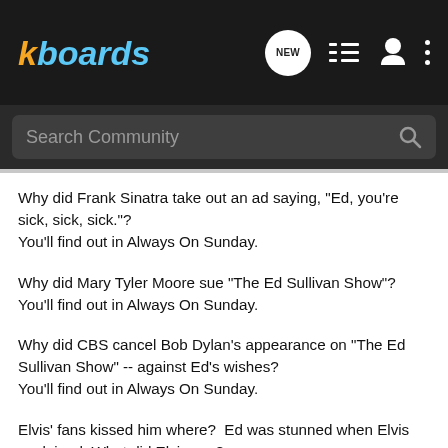[Figure (screenshot): kboards website header with logo, NEW chat icon, list icon, person icon, and dots menu icon on dark background]
[Figure (screenshot): Search Community search bar on dark background with magnifying glass icon]
Why did Frank Sinatra take out an ad saying, "Ed, you're sick, sick, sick."?
You'll find out in Always On Sunday.
Why did Mary Tyler Moore sue "The Ed Sullivan Show"?
You'll find out in Always On Sunday.
Why did CBS cancel Bob Dylan's appearance on "The Ed Sullivan Show" -- against Ed's wishes?
You'll find out in Always On Sunday.
Elvis' fans kissed him where?  Ed was stunned when Elvis explained. What did Elvis say?
You'll find out in Always On Sunday